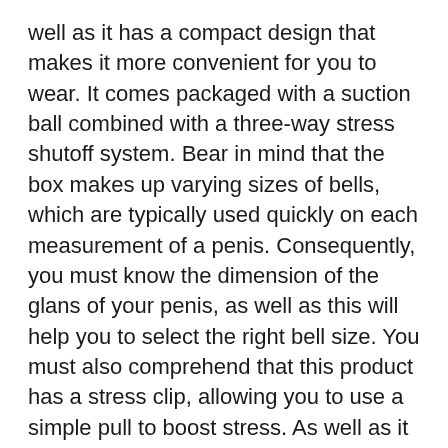well as it has a compact design that makes it more convenient for you to wear. It comes packaged with a suction ball combined with a three-way stress shutoff system. Bear in mind that the box makes up varying sizes of bells, which are typically used quickly on each measurement of a penis. Consequently, you must know the dimension of the glans of your penis, as well as this will help you to select the right bell size. You must also comprehend that this product has a stress clip, allowing you to use a simple pull to boost stress. As well as it features a protector cap to secure the glans versus excess stress.
Best Way To Get Bigger Penis